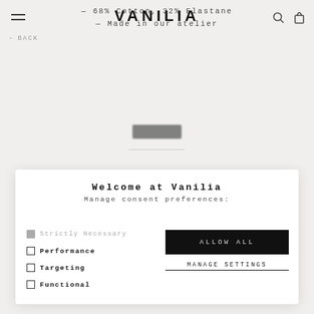— 68% Cotton, 32% Elastane — Made in our atelier
← BACK
[Figure (screenshot): Blurred product image area with a dark button and a horizontal divider line]
Welcome at Vanilia
Manage consent preferences:
Strictly Necessary
Performance
Targeting
Functional
ALLOW ALL
MANAGE SETTINGS